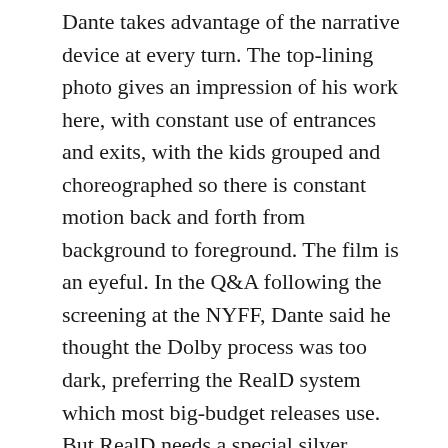Dante takes advantage of the narrative device at every turn. The top-lining photo gives an impression of his work here, with constant use of entrances and exits, with the kids grouped and choreographed so there is constant motion back and forth from background to foreground. The film is an eyeful. In the Q&A following the screening at the NYFF, Dante said he thought the Dolby process was too dark, preferring the RealD system which most big-budget releases use. But RealD needs a special silver screen to be projected on, and for a low-budget film in which theater space would at a minimum, the Dolby process was necessary, as it can be projected onto regular screens.